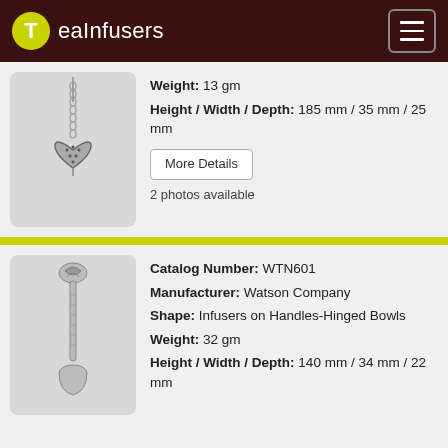TeaInfusers
Weight: 13 gm
Height / Width / Depth: 185 mm / 35 mm / 25 mm
More Details
2 photos available
[Figure (photo): Photo of a silver chain tea infuser with heart-shaped perforated bowl]
Catalog Number: WTN601
Manufacturer: Watson Company
Shape: Infusers on Handles-Hinged Bowls
Weight: 32 gm
Height / Width / Depth: 140 mm / 34 mm / 22 mm
[Figure (photo): Photo of an ornate silver-handled tea infuser spoon]